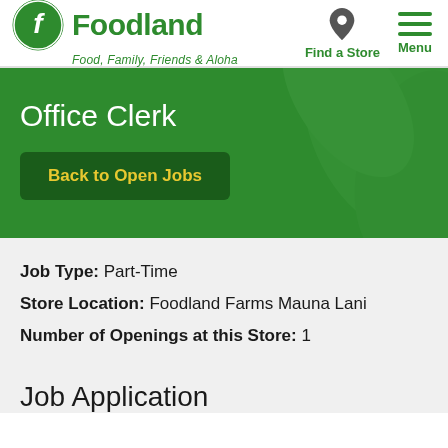Foodland — Food, Family, Friends & Aloha | Find a Store | Menu
Office Clerk
Back to Open Jobs
Job Type: Part-Time
Store Location: Foodland Farms Mauna Lani
Number of Openings at this Store: 1
Job Application